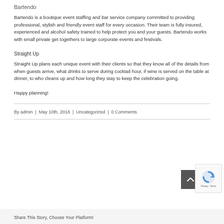Bartendo
Bartendo is a boutique event staffing and bar service company committed to providing professional, stylish and friendly event staff for every occasion. Their team is fully insured, experienced and alcohol safety trained to help protect you and your guests. Bartendo works with small private get togethers to large corporate events and festivals.
Straight Up
Straight Up plans each unique event with their clients so that they know all of the details from when guests arrive, what drinks to serve during cocktail hour, if wine is served on the table at dinner, to who cleans up and how long they stay to keep the celebration going.
Happy planning!
By admin | May 10th, 2018 | Uncategorized | 0 Comments
Share This Story, Choose Your Platform!